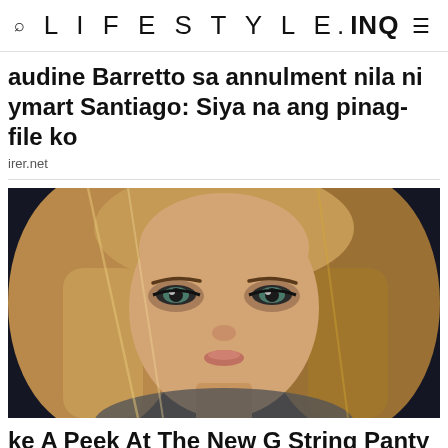LIFESTYLE.INQ
audine Barretto sa annulment nila ni ymart Santiago: Siya na ang pinag-file ko
irer.net
[Figure (photo): Close-up portrait photo of a young woman with long blonde hair, dramatic eye makeup, against a dark background]
ke A Peek At The New G String Panty Sets ae Now)